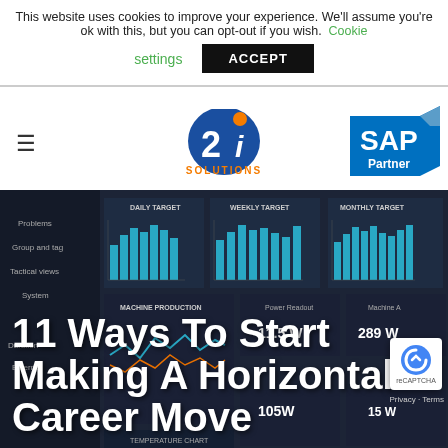This website uses cookies to improve your experience. We'll assume you're ok with this, but you can opt-out if you wish. Cookie settings ACCEPT
[Figure (logo): 2i Solutions company logo - blue circular logo with orange dot and '2i' text, 'SOLUTIONS' below]
[Figure (logo): SAP Partner logo - blue diamond shape with 'SAP' text and 'Partner' below]
[Figure (screenshot): Dashboard screenshot showing bar charts labeled DAILY TARGET, WEEKLY TARGET, MONTHLY TARGET, and MACHINE PRODUCTION data on a dark background tablet/screen]
11 Ways To Start Making A Horizontal Career Move